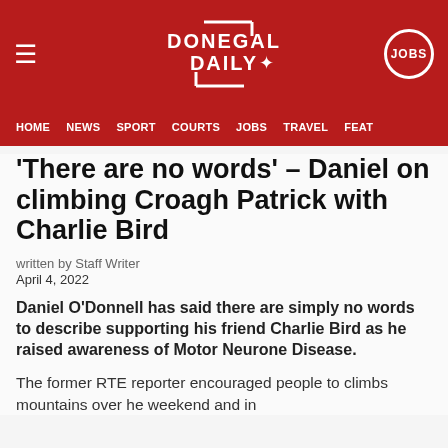DONEGAL DAILY | JOBS | HOME | NEWS | SPORT | COURTS | JOBS | TRAVEL | FEAT
'There are no words' – Daniel on climbing Croagh Patrick with Charlie Bird
written by Staff Writer
April 4, 2022
Daniel O'Donnell has said there are simply no words to describe supporting his friend Charlie Bird as he raised awareness of Motor Neurone Disease.
The former RTE reporter encouraged people to climbs mountains over he weekend and in